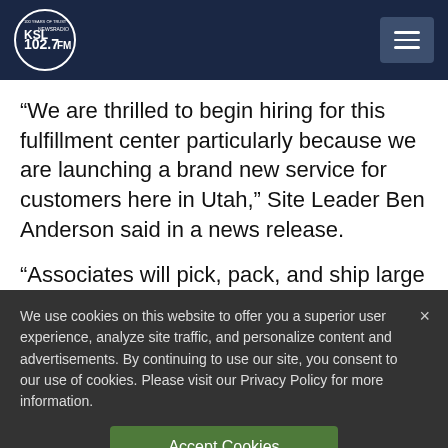KSL NewsRadio 102.7FM
“We are thrilled to begin hiring for this fulfillment center particularly because we are launching a brand new service for customers here in Utah,” Site Leader Ben Anderson said in a news release.
“Associates will pick, pack, and ship large
We use cookies on this website to offer you a superior user experience, analyze site traffic, and personalize content and advertisements. By continuing to use our site, you consent to our use of cookies. Please visit our Privacy Policy for more information.
Accept Cookies